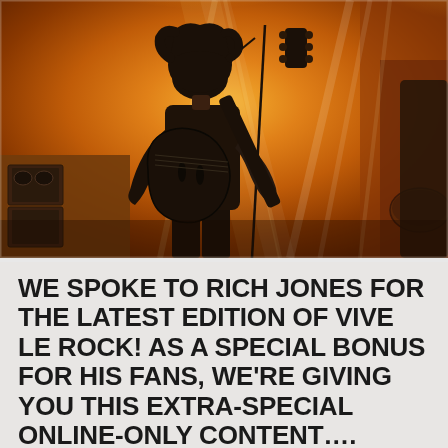[Figure (photo): Concert photo of a guitarist with long curly hair wearing a dark shirt, playing a black electric guitar on stage. The stage is lit with warm orange and yellow lighting with bright white light beams coming from above. A microphone stand is in front of the guitarist. Stage equipment and amplifiers visible in background.]
WE SPOKE TO RICH JONES FOR THE LATEST EDITION OF VIVE LE ROCK! AS A SPECIAL BONUS FOR HIS FANS, WE'RE GIVING YOU THIS EXTRA-SPECIAL ONLINE-ONLY CONTENT….